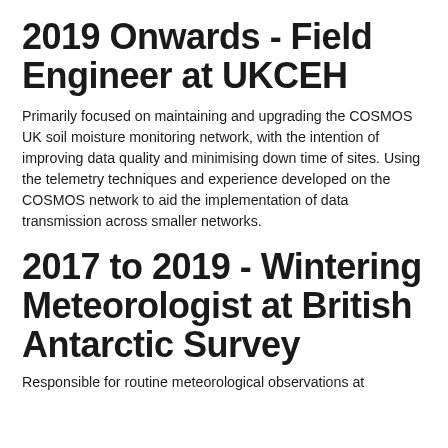2019 Onwards - Field Engineer at UKCEH
Primarily focused on maintaining and upgrading the COSMOS UK soil moisture monitoring network, with the intention of improving data quality and minimising down time of sites. Using the telemetry techniques and experience developed on the COSMOS network to aid the implementation of data transmission across smaller networks.
2017 to 2019 - Wintering Meteorologist at British Antarctic Survey
Responsible for routine meteorological observations at